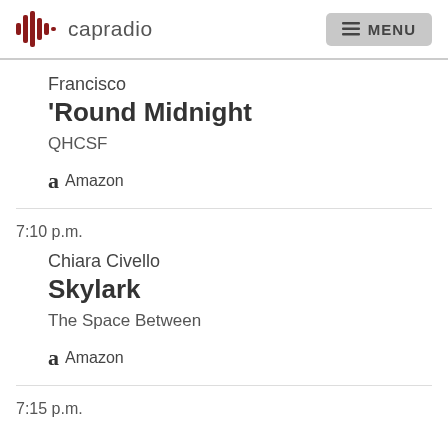capradio | MENU
Francisco
'Round Midnight
QHCSF
Amazon
7:10 p.m.
Chiara Civello
Skylark
The Space Between
Amazon
7:15 p.m.